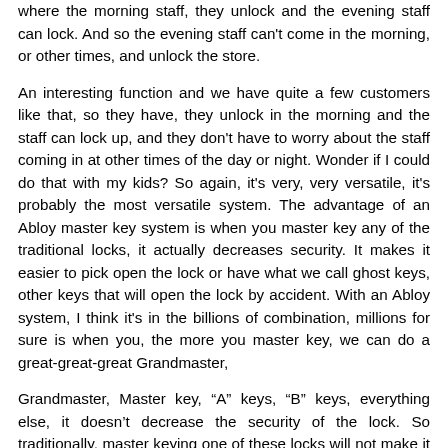where the morning staff, they unlock and the evening staff can lock. And so the evening staff can't come in the morning, or other times, and unlock the store.
An interesting function and we have quite a few customers like that, so they have, they unlock in the morning and the staff can lock up, and they don't have to worry about the staff coming in at other times of the day or night. Wonder if I could do that with my kids? So again, it's very, very versatile, it's probably the most versatile system. The advantage of an Abloy master key system is when you master key any of the traditional locks, it actually decreases security. It makes it easier to pick open the lock or have what we call ghost keys, other keys that will open the lock by accident. With an Abloy system, I think it's in the billions of combination, millions for sure is when you, the more you master key, we can do a great-great-great Grandmaster,
Grandmaster, Master key, “A” keys, “B” keys, everything else, it doesn’t decrease the security of the lock. So traditionally, master keying one of these locks will not make it easier to open.
The padlocks, the prices are not bad for what you have, pick-resistant, a shim will not open them, drill resistant and hardened